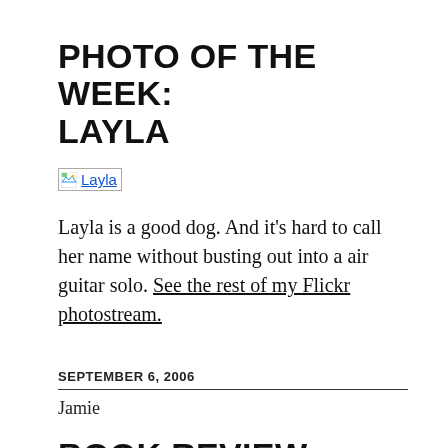PHOTO OF THE WEEK: LAYLA
[Figure (photo): Broken image placeholder with alt text 'Layla', shown as a small icon with underlined link text]
Layla is a good dog. And it’s hard to call her name without busting out into a air guitar solo. See the rest of my Flickr photostream.
SEPTEMBER 6, 2006
Jamie
BOOK REVIEW: FLIGHT OF